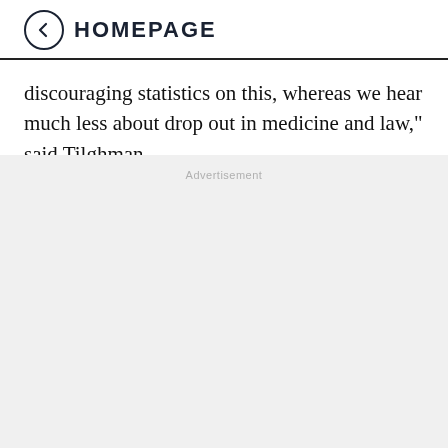← HOMEPAGE
discouraging statistics on this, whereas we hear much less about drop out in medicine and law," said Tilghman.
[Figure (other): Advertisement placeholder area with light gray background and 'Advertisement' label text in gray]